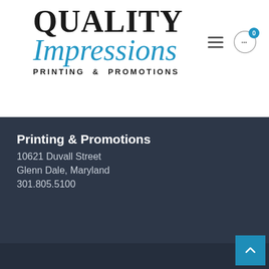[Figure (logo): Quality Impressions Printing & Promotions logo with hamburger menu and cart icon]
Printing & Promotions
10621 Duvall Street
Glenn Dale, Maryland
301.805.5100